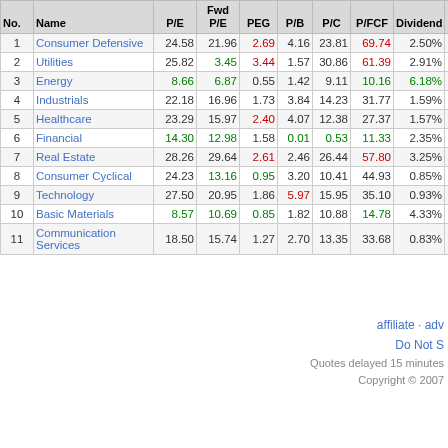| No. | Name | P/E | Fwd P/E | PEG | P/B | P/C | P/FCF | Dividend | EPS pa 5Y |
| --- | --- | --- | --- | --- | --- | --- | --- | --- | --- |
| 1 | Consumer Defensive | 24.58 | 21.96 | 2.69 | 4.16 | 23.81 | 69.74 | 2.50% | 7.56 |
| 2 | Utilities | 25.82 | 3.45 | 3.44 | 1.57 | 30.86 | 61.39 | 2.91% | 2.73 |
| 3 | Energy | 8.66 | 6.87 | 0.55 | 1.42 | 9.11 | 10.16 | 6.18% | 40.56 |
| 4 | Industrials | 22.18 | 16.96 | 1.73 | 3.84 | 14.23 | 31.77 | 1.59% | 16.24 |
| 5 | Healthcare | 23.29 | 15.97 | 2.40 | 4.07 | 12.38 | 27.37 | 1.57% | 16.02 |
| 6 | Financial | 14.30 | 12.98 | 1.58 | 0.01 | 0.53 | 11.33 | 2.35% | 20.29 |
| 7 | Real Estate | 28.26 | 29.64 | 2.61 | 2.46 | 26.44 | 57.80 | 3.25% | 11.30 |
| 8 | Consumer Cyclical | 24.23 | 13.16 | 0.95 | 3.20 | 10.41 | 44.93 | 0.85% | 30.58 |
| 9 | Technology | 27.50 | 20.95 | 1.86 | 5.97 | 15.95 | 35.10 | 0.93% | 23.10 |
| 10 | Basic Materials | 8.57 | 10.69 | 0.85 | 1.82 | 10.88 | 14.78 | 4.33% | 28.66 |
| 11 | Communication Services | 18.50 | 15.74 | 1.27 | 2.70 | 13.35 | 33.68 | 0.83% | 20.47 |
affiliate · adv  Do Not S  Quotes delayed 15 minutes  Copyright © 2007